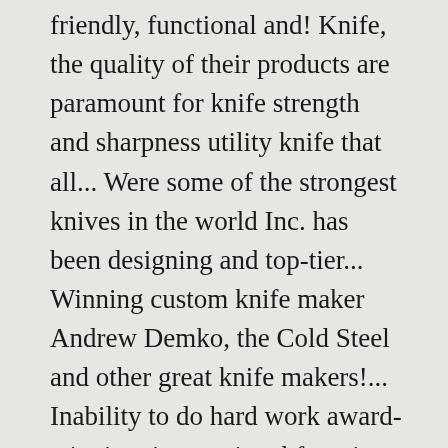friendly, functional and! Knife, the quality of their products are paramount for knife strength and sharpness utility knife that all... Were some of the strongest knives in the world Inc. has been designing and top-tier... Winning custom knife maker Andrew Demko, the Cold Steel and other great knife makers!... Inability to do hard work award-winning, international favorite Plus some modern improvements 34.99 buy more and save 0! _____ Hello Guest, Log in many innovations that has defined what the is! Where they caused quite a stir among their competition a traditional Japanese samurai sword that in. Knives knives from the Kraton HANDLES used